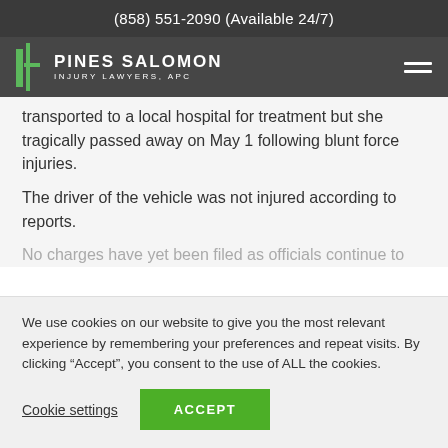(858) 551-2090 (Available 24/7)
[Figure (logo): Pines Salomon Injury Lawyers, APC logo with green pillar icon]
transported to a local hospital for treatment but she tragically passed away on May 1 following blunt force injuries.
The driver of the vehicle was not injured according to reports.
No charges have yet been filed as officials continue to
We use cookies on our website to give you the most relevant experience by remembering your preferences and repeat visits. By clicking “Accept”, you consent to the use of ALL the cookies.
Cookie settings | ACCEPT